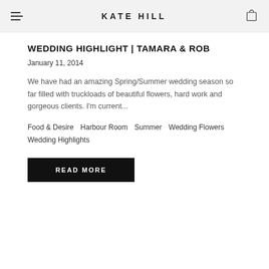KATE HILL
WEDDING HIGHLIGHT | TAMARA & ROB
January 11, 2014
We have had an amazing Spring/Summer wedding season so far filled with truckloads of beautiful flowers, hard work and gorgeous clients. I'm current...
Food & Desire   Harbour Room   Summer   Wedding Flowers   Wedding Highlights
READ MORE